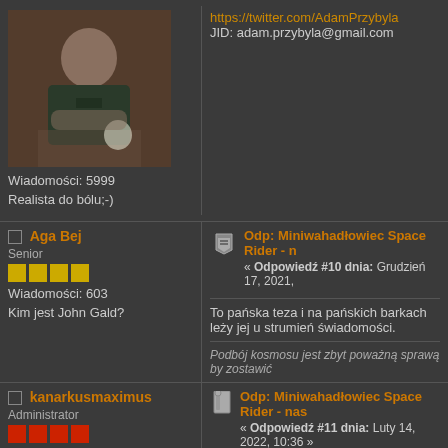[Figure (photo): Profile photo of a man sitting at a table with a cup, wearing a dark t-shirt]
https://twitter.com/AdamPrzybyla
JID: adam.przybyla@gmail.com
Wiadomości: 5999
Realista do bólu;-)
■ Aga Bej
Senior
Wiadomości: 603
Kim jest John Gald?
Odp: Miniwahadłowiec Space Rider - n
« Odpowiedź #10 dnia: Grudzień 17, 2021,
To pańska teza i na pańskich barkach leży jej u strumień świadomości.
Podbój kosmosu jest zbyt poważną sprawą by zostawić
■ kanarkusmaximus
Administrator
Odp: Miniwahadłowiec Space Rider - nas
« Odpowiedź #11 dnia: Luty 14, 2022, 10:36 »
Od dawna nic nie było a się taka fajna informat